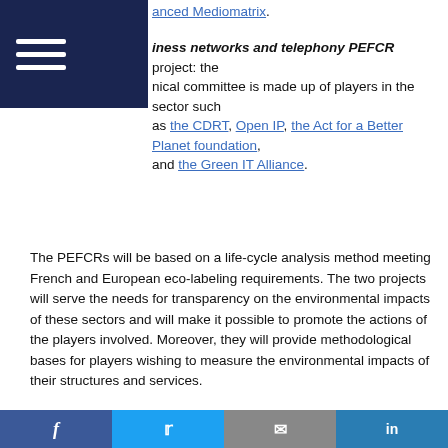anced Mediomatrix.
iness networks and telephony PEFCR project: the nical committee is made up of players in the sector such as the CDRT, Open IP, the Act for a Better Planet foundation, and the Green IT Alliance.
The PEFCRs will be based on a life-cycle analysis method meeting French and European eco-labeling requirements. The two projects will serve the needs for transparency on the environmental impacts of these sectors and will make it possible to promote the actions of the players involved. Moreover, they will provide methodological bases for players wishing to measure the environmental impacts of their structures and services.
“Being the winner of this call for projects will allow us to strengthen the tools and methods in order to work towards a more responsible digital future. It is a source of pride to work on these two projects and to support the sector with the backing of Ademe and our long-standing partner, LCIE
f  t  mail  in